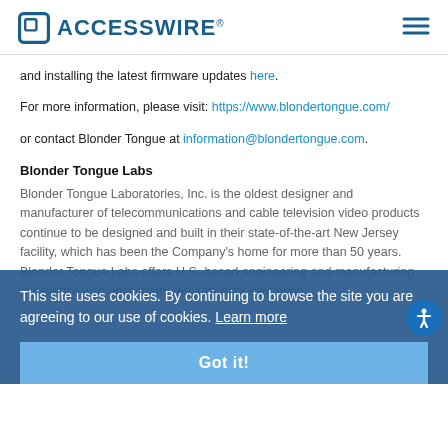ACCESSWIRE
and installing the latest firmware updates here.
For more information, please visit: https://www.blondertongue.com/
or contact Blonder Tongue at information@blondertongue.com.
Blonder Tongue Labs
Blonder Tongue Laboratories, Inc. is the oldest designer and manufacturer of telecommunications and cable television video products continue to be designed and built in their state-of-the-art New Jersey facility, which has been the Company's home for more than 50 years. Blonder Tongue Labs offers U.S.-based engineering and manufacturing excellence with an industry reputation for delivering
This site uses cookies. By continuing to browse the site you are agreeing to our use of cookies. Learn more
Got it!